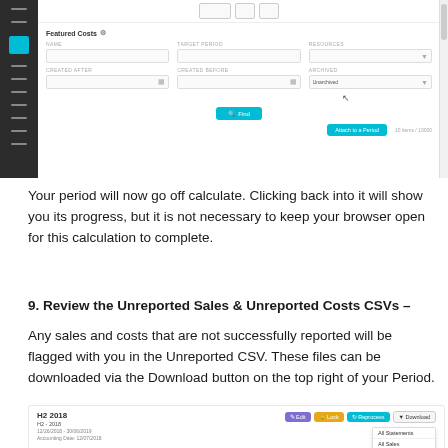[Figure (screenshot): Screenshot of a web application showing a 'Featured Costs' filter panel with fields for Name, Target Period, Resources, Created After, Created Before, Archived (set to 'Unarchived'), a Find button, and an 'Attach to a Period' action button. A dark sidebar with icons is on the left.]
Your period will now go off calculate. Clicking back into it will show you its progress, but it is not necessary to keep your browser open for this calculation to complete.
9. Review the Unreported Sales & Unreported Costs CSVs –
Any sales and costs that are not successfully reported will be flagged with you in the Unreported CSV. These files can be downloaded via the Download button on the top right of your Period.
[Figure (screenshot): Screenshot of a period entry 'H2 2018' showing period dates 12/26/2018 – 30/06/2019, Accounting Date 12/07/2018, with action buttons: Edit (purple), Lock (gold), Reprocess (teal), Download (with dropdown showing All Statements, All Sales, All Costs). A 'Last Run' label is also visible.]